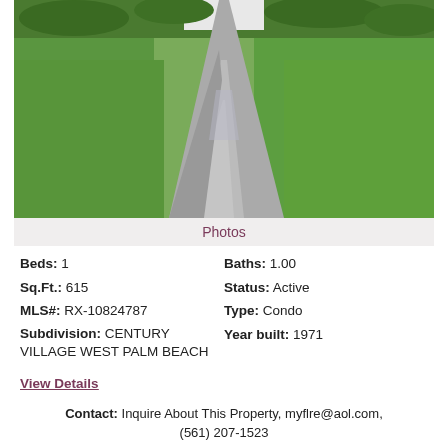[Figure (photo): Outdoor photo showing a concrete/paved walkway leading through a manicured green lawn toward a building entrance, with green hedges in the background.]
Photos
Beds: 1   Baths: 1.00
Sq.Ft.: 615   Status: Active
MLS#: RX-10824787   Type: Condo
Subdivision: CENTURY VILLAGE WEST PALM BEACH   Year built: 1971
View Details
Contact: Inquire About This Property, myflre@aol.com, (561) 207-1523